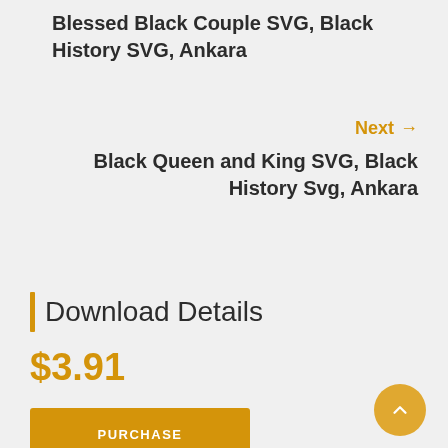Blessed Black Couple SVG, Black History SVG, Ankara
Next →
Black Queen and King SVG, Black History Svg, Ankara
Download Details
$3.91
PURCHASE
Download Categories: BLACK HISTORY SVG, BLACK MAN SVG, BLACK WOMAN SVG